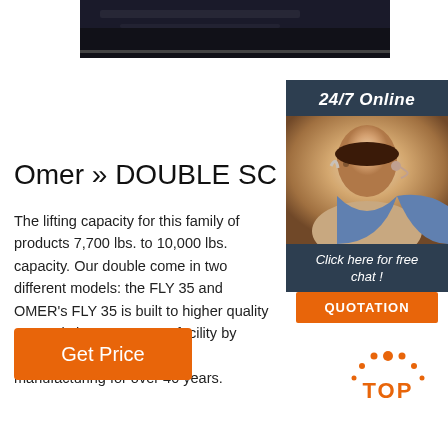[Figure (photo): Dark metallic surface, partial product photo at top of page]
[Figure (photo): Sidebar with 24/7 Online chat widget, woman with headset, Click here for free chat, QUOTATION button]
Omer » DOUBLE SCISSOR L
The lifting capacity for this family of products 7,700 lbs. to 10,000 lbs. capacity. Our double come in two different models: the FLY 35 and OMER's FLY 35 is built to higher quality stan Italy in an ISO 9001 facility by O.ME.R S.p.A leader in lift manufacturing for over 40 years.
[Figure (other): Orange Get Price button]
[Figure (other): TOP icon with orange dots triangle and TOP text]